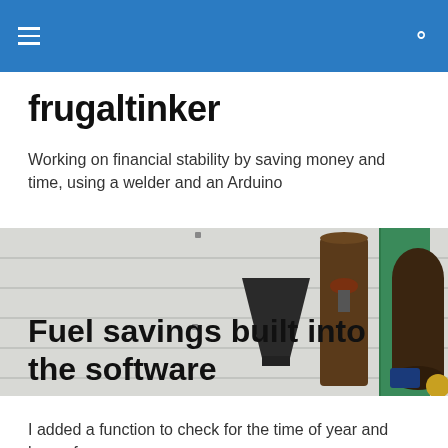frugaltinker — navigation header with hamburger menu and search icon
frugaltinker
Working on financial stability by saving money and time, using a welder and an Arduino
[Figure (photo): Workshop photo showing a dark hopper/funnel, a metal pipe or boiler, a green cloth hanging, and industrial tanks in the background against a white paneled wall]
Fuel savings built into the software
I added a function to check for the time of year and hour of